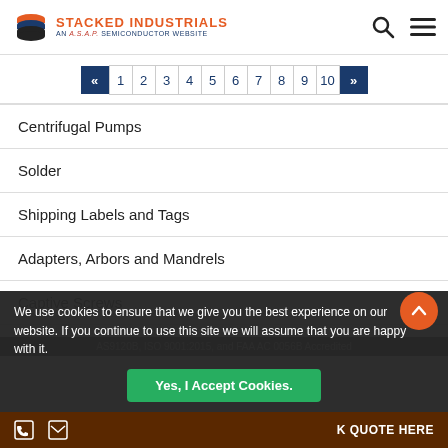STACKED INDUSTRIALS — AN A.S.A.P. SEMICONDUCTOR WEBSITE
Centrifugal Pumps
Solder
Shipping Labels and Tags
Adapters, Arbors and Mandrels
Captive Screws
Tactical Belts
We use cookies to ensure that we give you the best experience on our website. If you continue to use this site we will assume that you are happy with it.
AS9120B, ISO 9001:2015, and FAA AC 0056B Accredited
K QUOTE HERE